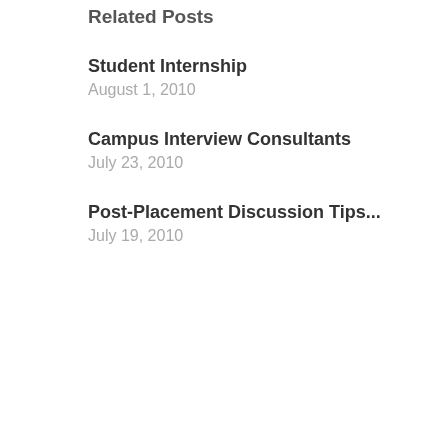Related Posts
Student Internship
August 1, 2010
Campus Interview Consultants
July 23, 2010
Post-Placement Discussion Tips...
July 19, 2010